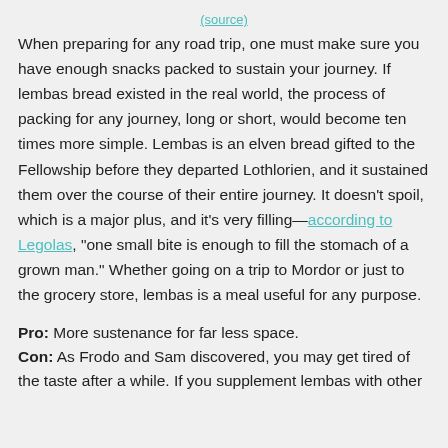(source)
When preparing for any road trip, one must make sure you have enough snacks packed to sustain your journey. If lembas bread existed in the real world, the process of packing for any journey, long or short, would become ten times more simple. Lembas is an elven bread gifted to the Fellowship before they departed Lothlorien, and it sustained them over the course of their entire journey. It doesn't spoil, which is a major plus, and it's very filling—according to Legolas, "one small bite is enough to fill the stomach of a grown man." Whether going on a trip to Mordor or just to the grocery store, lembas is a meal useful for any purpose.
Pro: More sustenance for far less space.
Con: As Frodo and Sam discovered, you may get tired of the taste after a while. If you supplement lembas with other